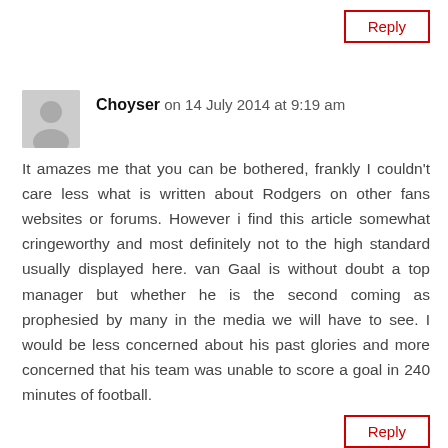Reply
Choyser on 14 July 2014 at 9:19 am
It amazes me that you can be bothered, frankly I couldn't care less what is written about Rodgers on other fans websites or forums. However i find this article somewhat cringeworthy and most definitely not to the high standard usually displayed here. van Gaal is without doubt a top manager but whether he is the second coming as prophesied by many in the media we will have to see. I would be less concerned about his past glories and more concerned that his team was unable to score a goal in 240 minutes of football.
Reply